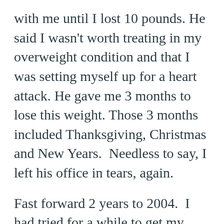with me until I lost 10 pounds. He said I wasn't worth treating in my overweight condition and that I was setting myself up for a heart attack. He gave me 3 months to lose this weight. Those 3 months included Thanksgiving, Christmas and New Years.  Needless to say, I left his office in tears, again.
Fast forward 2 years to 2004.  I had tried for a while to get my records from this endo. He wouldn't send them, even at doctors' or my requests.
I wanted to go see Dr. Vance at UVa but I had no records so she wouldn't see